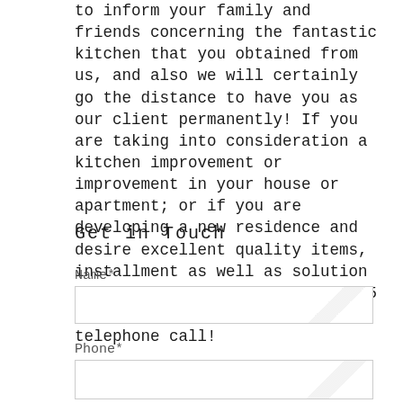to inform your family and friends concerning the fantastic kitchen that you obtained from us, and also we will certainly go the distance to have you as our client permanently! If you are taking into consideration a kitchen improvement or improvement in your house or apartment; or if you are developing a new residence and desire excellent quality items, installment as well as solution at competitive prices consider 5 Day Cabinets. Provide us a telephone call!
Get in Touch
Name*
Phone*